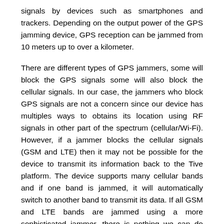signals by devices such as smartphones and trackers. Depending on the output power of the GPS jamming device, GPS reception can be jammed from 10 meters up to over a kilometer.
There are different types of GPS jammers, some will block the GPS signals some will also block the cellular signals. In our case, the jammers who block GPS signals are not a concern since our device has multiples ways to obtains its location using RF signals in other part of the spectrum (cellular/Wi-Fi). However, if a jammer blocks the cellular signals (GSM and LTE) then it may not be possible for the device to transmit its information back to the Tive platform. The device supports many cellular bands and if one band is jammed, it will automatically switch to another band to transmit its data. If all GSM and LTE bands are jammed using a more sophisticated jammer, there is nothing we can do about it. In this case, the device will continue to record and log its location (Wi-Fi or GPS if these bands are not